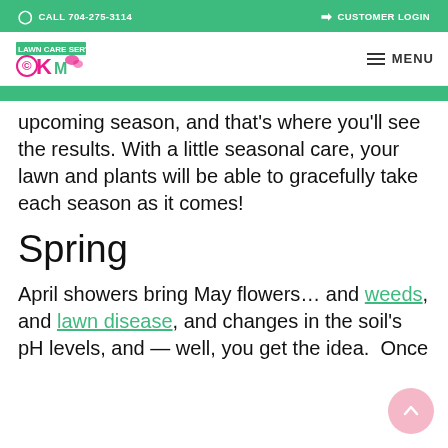CALL 704-275-3114   CUSTOMER LOGIN
[Figure (logo): Lawn care company logo with pink and green branding]
upcoming season, and that's where you'll see the results. With a little seasonal care, your lawn and plants will be able to gracefully take each season as it comes!
Spring
April showers bring May flowers… and weeds, and lawn disease, and changes in the soil's pH levels, and — well, you get the idea.  Once